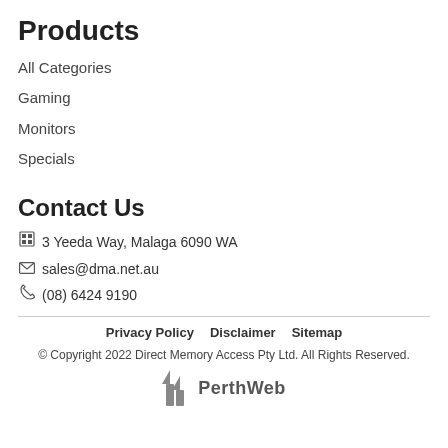Products
All Categories
Gaming
Monitors
Specials
Contact Us
3 Yeeda Way, Malaga 6090 WA
sales@dma.net.au
(08) 6424 9190
Privacy Policy   Disclaimer   Sitemap
© Copyright 2022 Direct Memory Access Pty Ltd. All Rights Reserved.